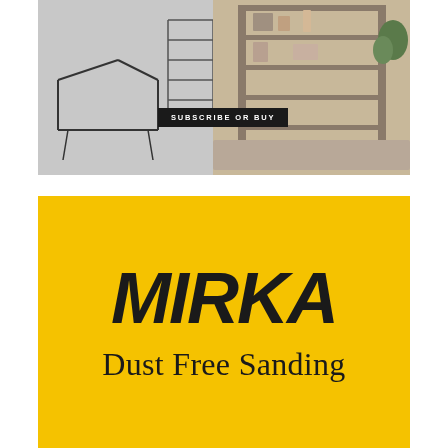[Figure (photo): Interior/closet room photograph showing shelving units with items, partially sketched/illustrated style, with a 'SUBSCRIBE OR BUY' button overlaid]
[Figure (logo): Mirka advertisement with yellow background, bold black italic MIRKA logo text, and 'Dust Free Sanding' tagline below]